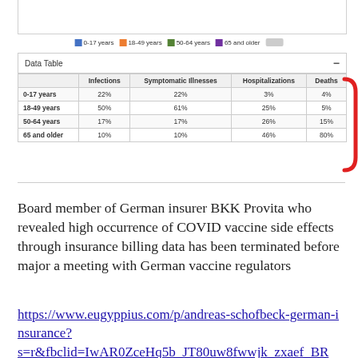[Figure (other): Partial bar chart visible at top of page, cropped]
0-17 years  18-49 years  50-64 years  65 and older
|  | Infections | Symptomatic Illnesses | Hospitalizations | Deaths |
| --- | --- | --- | --- | --- |
| 0-17 years | 22% | 22% | 3% | 4% |
| 18-49 years | 50% | 61% | 25% | 5% |
| 50-64 years | 17% | 17% | 26% | 15% |
| 65 and older | 10% | 10% | 46% | 80% |
Board member of German insurer BKK Provita who revealed high occurrence of COVID vaccine side effects through insurance billing data has been terminated before major a meeting with German vaccine regulators
https://www.eugyppius.com/p/andreas-schofbeck-german-insurance?
s=r&fbclid=IwAR0ZceHq5b_JT80uw8fwwjk_zxaef_BR